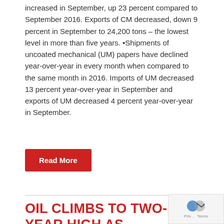increased in September, up 23 percent compared to September 2016. Exports of CM decreased, down 9 percent in September to 24,200 tons – the lowest level in more than five years. •Shipments of uncoated mechanical (UM) papers have declined year-over-year in every month when compared to the same month in 2016. Imports of UM decreased 13 percent year-over-year in September and exports of UM decreased 4 percent year-over-year in September.
Read More
OIL CLIMBS TO TWO-YEAR HIGH AS STOCKPILES FALL BEFORE OPEC MEETS
November 22, 2017   Midland Paper Clips   Misc
"It does appear the only way is up for oil," said Michael McCarthy, a